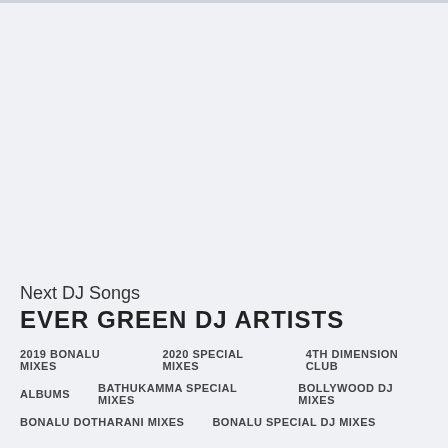Next DJ Songs
EVER GREEN DJ ARTISTS
2019 BONALU MIXES
2020 SPECIAL MIXES
4TH DIMENSION CLUB
ALBUMS
BATHUKAMMA SPECIAL MIXES
BOLLYWOOD DJ MIXES
BONALU DOTHARANI MIXES
BONALU SPECIAL DJ MIXES